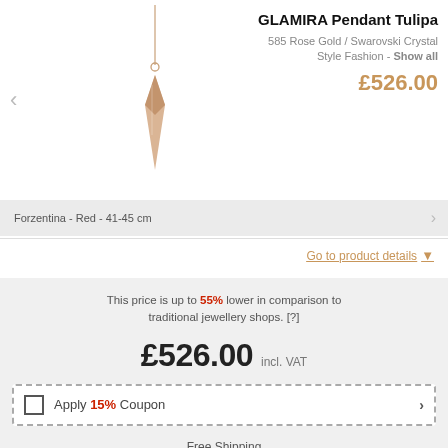[Figure (photo): A rose gold pendant necklace (Tulipa style) on a light background, showing a pointed drop-shaped pendant on a thin chain.]
GLAMIRA Pendant Tulipa
585 Rose Gold / Swarovski Crystal
Style Fashion - Show all
£526.00
Forzentina - Red - 41-45 cm
Go to product details
This price is up to 55% lower in comparison to traditional jewellery shops. [?]
£526.00  incl. VAT
Apply 15% Coupon
Free Shipping
60 Day Return Policy
Estimated delivery time:
Monday, 12 Sep
View Delivery Options